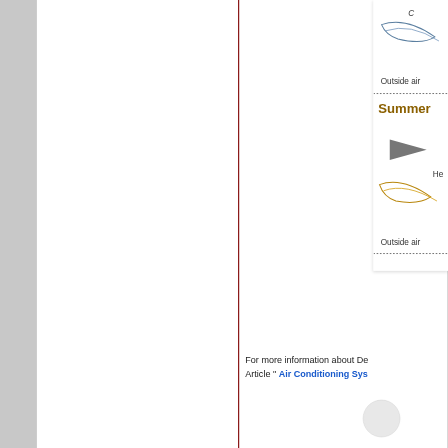[Figure (schematic): Partial view of an air conditioning system diagram showing 'Outside air' labels, a 'Summer' section label in bold orange/brown, curved flow lines, and an arrow indicator. The diagram is cropped on the right side of the page.]
For more information about De... Article " Air Conditioning Sys...